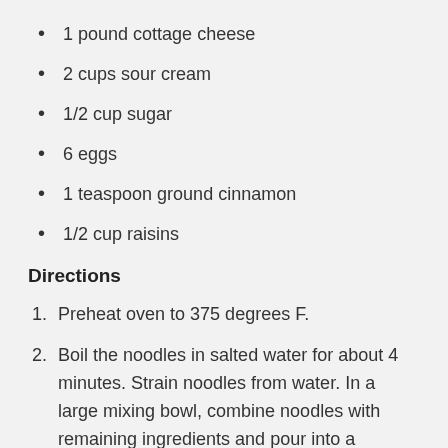1 pound cottage cheese
2 cups sour cream
1/2 cup sugar
6 eggs
1 teaspoon ground cinnamon
1/2 cup raisins
Directions
Preheat oven to 375 degrees F.
Boil the noodles in salted water for about 4 minutes. Strain noodles from water. In a large mixing bowl, combine noodles with remaining ingredients and pour into a greased, approximately 9-by-13-inch baking dish.